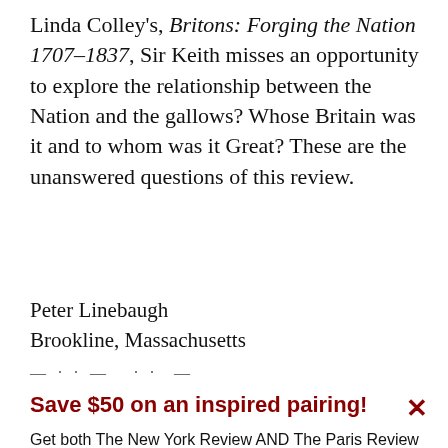Linda Colley's, Britons: Forging the Nation 1707–1837, Sir Keith misses an opportunity to explore the relationship between the Nation and the gallows? Whose Britain was it and to whom was it Great? These are the unanswered questions of this review.
Peter Linebaugh
Brookline, Massachusetts
— · · —  · ·  —  · ·  —  · ·
Save $50 on an inspired pairing!
Get both The New York Review AND The Paris Review at one low price.
See offer  Already a subscriber?  Sign in